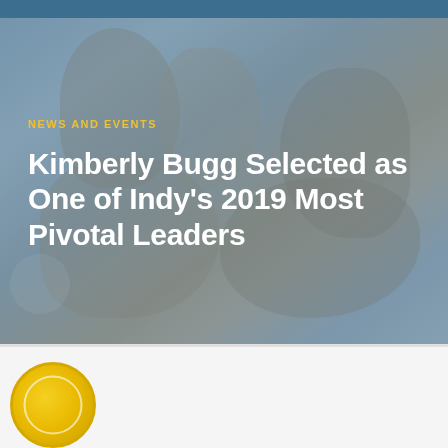[Figure (photo): Hero image showing people clapping hands at a professional event, with a blue-tinted overlay. Features a yellow 'NEWS AND EVENTS' label and large white title text.]
NEWS AND EVENTS
Kimberly Bugg Selected as One of Indy’s 2019 Most Pivotal Leaders
[Figure (photo): Bottom partial view showing a yellow/gold circular award medallion or badge on a light grey background.]